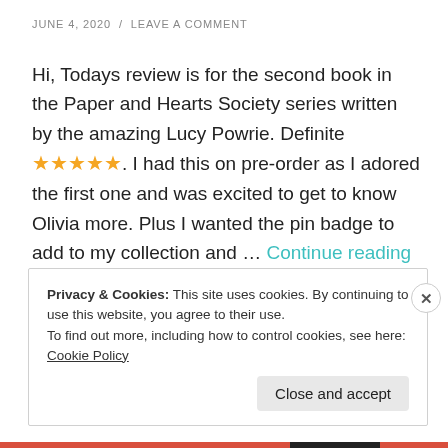JUNE 4, 2020 / LEAVE A COMMENT
Hi, Todays review is for the second book in the Paper and Hearts Society series written by the amazing Lucy Powrie. Definite ★★★★★. I had this on pre-order as I adored the first one and was excited to get to know Olivia more. Plus I wanted the pin badge to add to my collection and … Continue reading
Privacy & Cookies: This site uses cookies. By continuing to use this website, you agree to their use.
To find out more, including how to control cookies, see here: Cookie Policy
Close and accept